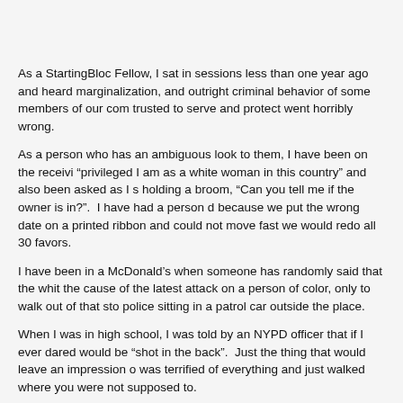As a StartingBloc Fellow, I sat in sessions less than one year ago and heard marginalization, and outright criminal behavior of some members of our com trusted to serve and protect went horribly wrong.
As a person who has an ambiguous look to them, I have been on the receivi “privileged I am as a white woman in this country” and also been asked as I s holding a broom, “Can you tell me if the owner is in?”.  I have had a person d because we put the wrong date on a printed ribbon and could not move fast we would redo all 30 favors.
I have been in a McDonald’s when someone has randomly said that the whit the cause of the latest attack on a person of color, only to walk out of that sto police sitting in a patrol car outside the place.
When I was in high school, I was told by an NYPD officer that if I ever dared would be “shot in the back”.  Just the thing that would leave an impression o was terrified of everything and just walked where you were not supposed to.
Yet, I took the Entrance Exam for the NYPD ten years after that incident.  I w proctoring the test that day that this was not the job for me after he grabbed